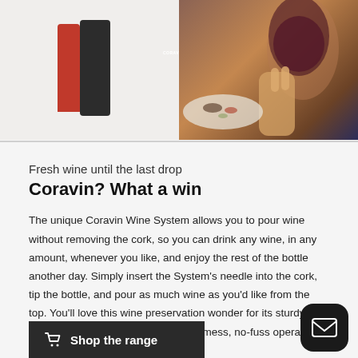[Figure (photo): Two product/lifestyle photos side by side: left shows Coravin wine system devices (red and black), right shows a hand holding a wine glass with food on a plate in the background]
Fresh wine until the last drop
Coravin? What a win
The unique Coravin Wine System allows you to pour wine without removing the cork, so you can drink any wine, in any amount, whenever you like, and enjoy the rest of the bottle another day. Simply insert the System's needle into the cork, tip the bottle, and pour as much wine as you'd like from the top. You'll love this wine preservation wonder for its sturdy construction and its easy-to-use, no-mess, no-fuss operation.
Shop the range